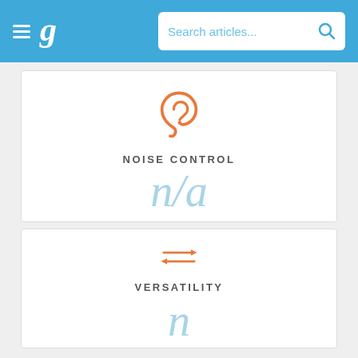g | Search articles...
[Figure (infographic): Noise Control section card with orange ear icon, label NOISE CONTROL, and n/a value in light blue italic]
NOISE CONTROL
n/a
[Figure (infographic): Versatility section card with orange double-headed arrows icon and label VERSATILITY]
VERSATILITY